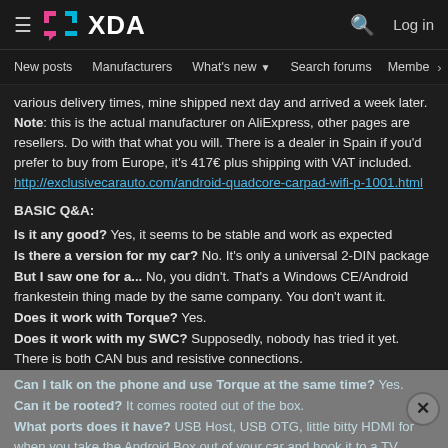XDA Forums header with hamburger menu, XDA logo, search icon, Log in
New posts  Manufacturers  What's new  Search forums  Membe  >
various delivery times, mine shipped next day and arrived a week later. Note: this is the actual manufacturer on AliExpress, other pages are resellers. Do with that what you will. There is a dealer in Spain if you'd prefer to buy from Europe, it's 417€ plus shipping with VAT included. http://exclusivecarauto.com/android-quadcore-carpad-wifi-p-1001.html
BASIC Q&A:
Is it any good? Yes, it seems to be stable and work as expected
Is there a version for my car? No. It's only a universal 2-DIN package
But I saw one for a... No, you didn't. That's a Windows CE/Android frankestein thing made by the same company. You don't want it.
Does it work with Torque? Yes.
Does it work with my SWC? Supposedly, nobody has tried it yet. There is both CAN bus and resistive connections.
Can I talk on the phone and use Torque at the same time? Yes.
Can it be rooted? It comes rooted out of the box.
What ports does it have? USB Host, USB OTG, little bitty HDMI for when you take the Android Box out of your car and hook it to a TV.
What connections does it have for my car? 4 channel high-power